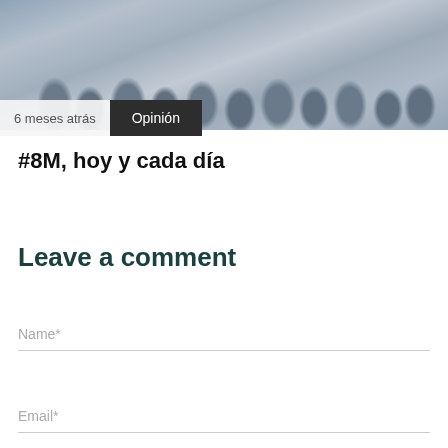[Figure (photo): Crowd of people at a public event or demonstration, grayscale/muted tones]
6 meses atrás
Opinión
#8M, hoy y cada día
Leave a comment
Name*
Email*